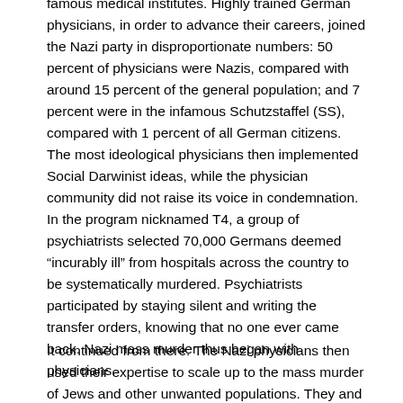famous medical institutes. Highly trained German physicians, in order to advance their careers, joined the Nazi party in disproportionate numbers: 50 percent of physicians were Nazis, compared with around 15 percent of the general population; and 7 percent were in the infamous Schutzstaffel (SS), compared with 1 percent of all German citizens. The most ideological physicians then implemented Social Darwinist ideas, while the physician community did not raise its voice in condemnation. In the program nicknamed T4, a group of psychiatrists selected 70,000 Germans deemed “incurably ill” from hospitals across the country to be systematically murdered. Psychiatrists participated by staying silent and writing the transfer orders, knowing that no one ever came back. Nazi mass murder thus began with physicians.
It continued from there. The Nazi physicians then used their expertise to scale up to the mass murder of Jews and other unwanted populations. They and their support